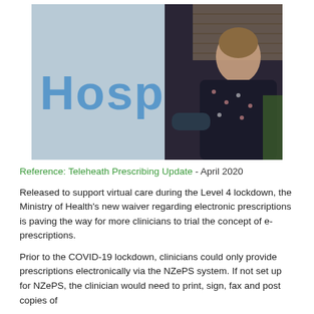[Figure (photo): Photo of a woman smiling and leaning against a hospital sign that reads 'Hospital' in large blue letters. She is wearing a dark floral top. The background shows a brick wall and the hospital sign.]
Reference: Teleheath Prescribing Update - April 2020
Released to support virtual care during the Level 4 lockdown, the Ministry of Health's new waiver regarding electronic prescriptions is paving the way for more clinicians to trial the concept of e-prescriptions.
Prior to the COVID-19 lockdown, clinicians could only provide prescriptions electronically via the NZePS system. If not set up for NZePS, the clinician would need to print, sign, fax and post copies of